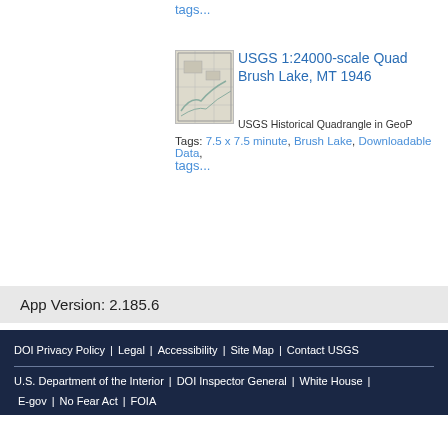tags...
[Figure (other): Thumbnail image of USGS topographic quadrangle map for Brush Lake, MT 1946]
USGS 1:24000-scale Quadrangle for Brush Lake, MT 1946
USGS Historical Quadrangle in GeoP
Tags: 7.5 x 7.5 minute, Brush Lake, Downloadable Data,
tags...
App Version: 2.185.6
DOI Privacy Policy | Legal | Accessibility | Site Map | Contact USGS | U.S. Department of the Interior | DOI Inspector General | White House | E-gov | No Fear Act | FOIA